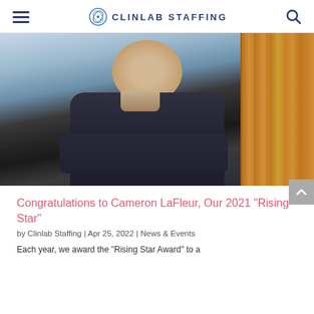CLINLAB STAFFING
[Figure (photo): Portrait photo of Cameron LaFleur, a young man with short hair wearing a dark Under Armour quarter-zip pullover, arms crossed, smiling, with a wooden pillar and blurred window background]
Congratulations to Cameron LaFleur, Our 2021 "Rising Star"
by Clinlab Staffing | Apr 25, 2022 | News & Events
Each year, we award the "Rising Star Award" to a